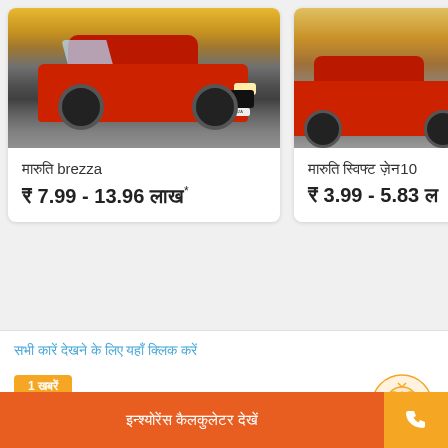[Figure (photo): Red Maruti Suzuki Brezza SUV driving on road, front view]
मारुति brezza
₹ 7.99 - 13.96 लाख*
[Figure (photo): Red car driving on road, partial view cropped on right]
मारुति स्विफ्ट ज़ेन10
₹ 3.99 - 5.83 ल
सभी कारें देखने के लिए यहाँ क्लिक करें
1 खबरें
मारुति कार-बीमा :- Benefits और to
इन्श्योरेंस कैलकुलेटर देखें